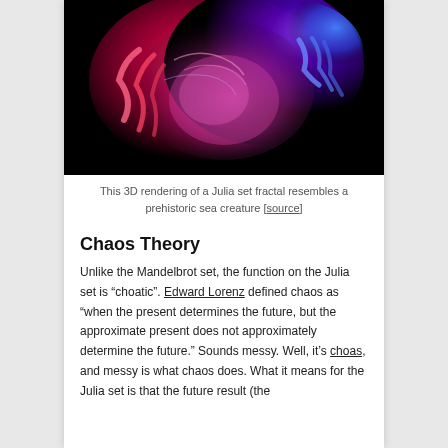[Figure (photo): A 3D rendering of a Julia set fractal with vivid colors (red, pink, purple, blue) against a black background, resembling a prehistoric sea creature]
This 3D rendering of a Julia set fractal resembles a prehistoric sea creature [source]
Chaos Theory
Unlike the Mandelbrot set, the function on the Julia set is “choatic”. Edward Lorenz defined chaos as “when the present determines the future, but the approximate present does not approximately determine the future.” Sounds messy. Well, it’s choas, and messy is what chaos does. What it means for the Julia set is that the future result (the